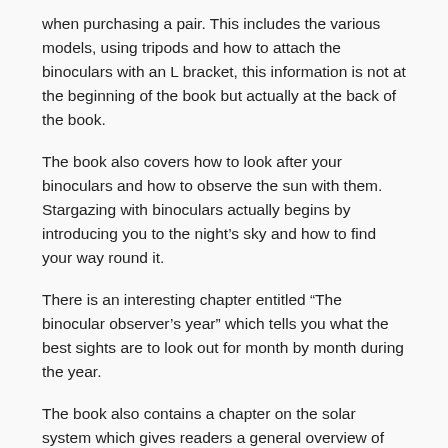when purchasing a pair. This includes the various models, using tripods and how to attach the binoculars with an L bracket, this information is not at the beginning of the book but actually at the back of the book.
The book also covers how to look after your binoculars and how to observe the sun with them. Stargazing with binoculars actually begins by introducing you to the night's sky and how to find your way round it.
There is an interesting chapter entitled “The binocular observer’s year” which tells you what the best sights are to look out for month by month during the year.
The book also contains a chapter on the solar system which gives readers a general overview of the night's sky and the hobby of astronomy.
Stargazing with binoculars is a great book as it contains